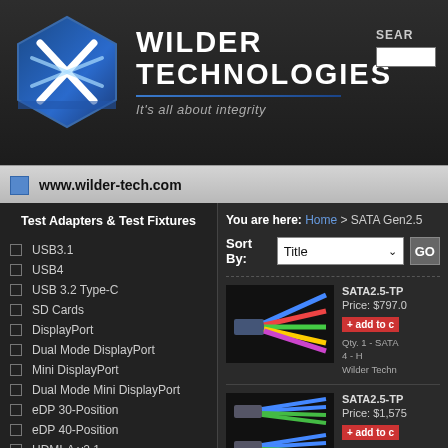[Figure (logo): Wilder Technologies logo with hexagonal icon and text 'WILDER TECHNOLOGIES - It's all about integrity']
www.wilder-tech.com
Test Adapters & Test Fixtures
USB3.1
USB4
USB 3.2 Type-C
SD Cards
DisplayPort
Dual Mode DisplayPort
Mini DisplayPort
Dual Mode Mini DisplayPort
eDP 30-Position
eDP 40-Position
HDMI-A v2.1
HDMI-A v2.0
HDMI-D v2.0
HDMI-A v1.4
You are here: Home > SATA Gen2.5
Sort By: Title GO
[Figure (photo): SATA test adapter with colorful cables fanned out]
SATA2.5-TP
Price: $797.0
+ add to c
Qty. 1 - SATA
4 - H
Wilder Techn
[Figure (photo): Two SATA test adapters with blue and green cables]
SATA2.5-TP
Price: $1,575
+ add to c
Qty. 2 - SATA
8 -
Wilder Techn